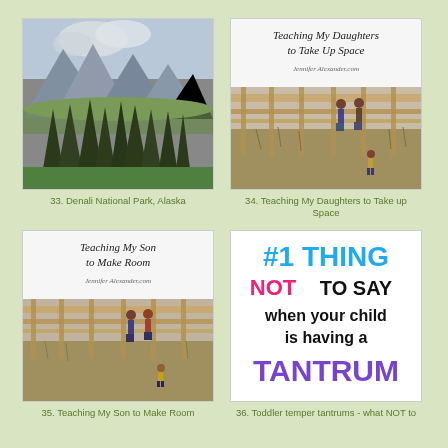[Figure (photo): Mountain landscape with evergreen trees in foreground, mountain peaks and clouds in background – Denali National Park, Alaska]
33. Denali National Park, Alaska
[Figure (photo): Blog post thumbnail: 'Teaching My Daughters to Take Up Space' – girls on a wooden bridge observation deck]
34. Teaching My Daughters to Take up Space
[Figure (photo): Blog post thumbnail: 'Teaching My Son to Make Room' – children on a wooden bridge observation deck]
35. Teaching My Son to Make Room
[Figure (infographic): Text graphic: #1 THING NOT TO SAY when your child is having a TANTRUM]
36. Toddler temper tantrums - what NOT to